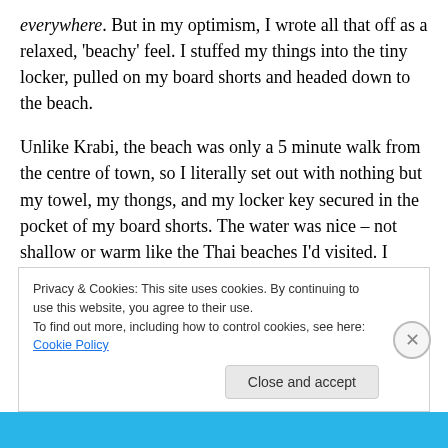everywhere. But in my optimism, I wrote all that off as a relaxed, 'beachy' feel. I stuffed my things into the tiny locker, pulled on my board shorts and headed down to the beach.
Unlike Krabi, the beach was only a 5 minute walk from the centre of town, so I literally set out with nothing but my towel, my thongs, and my locker key secured in the pocket of my board shorts. The water was nice – not shallow or warm like the Thai beaches I'd visited. I dived into waves, washing away the afternoon sweat sheen, and wincing as
Privacy & Cookies: This site uses cookies. By continuing to use this website, you agree to their use.
To find out more, including how to control cookies, see here: Cookie Policy